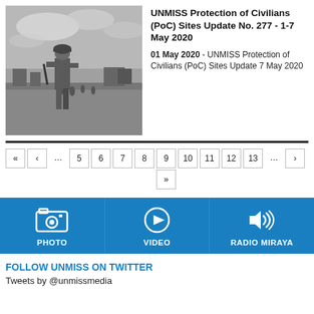[Figure (photo): Black and white photo of a UN soldier in helmet and camouflage gear standing in a field with people in the background]
UNMISS Protection of Civilians (PoC) Sites Update No. 277 - 1-7 May 2020
01 May 2020 - UNMISS Protection of Civilians (PoC) Sites Update 7 May 2020
« ‹ … 5 6 7 8 9 » 10 11 12 13 … ›
[Figure (infographic): Blue media bar with three items: PHOTO (camera icon), VIDEO (play button icon), RADIO MIRAYA (speaker icon)]
FOLLOW UNMISS ON TWITTER
Tweets by @unmissmedia